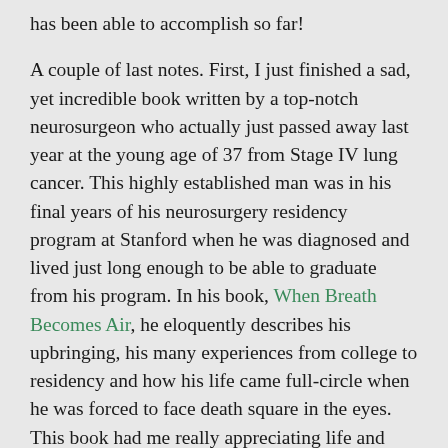has been able to accomplish so far!
A couple of last notes. First, I just finished a sad, yet incredible book written by a top-notch neurosurgeon who actually just passed away last year at the young age of 37 from Stage IV lung cancer. This highly established man was in his final years of his neurosurgery residency program at Stanford when he was diagnosed and lived just long enough to be able to graduate from his program. In his book, When Breath Becomes Air, he eloquently describes his upbringing, his many experiences from college to residency and how his life came full-circle when he was forced to face death square in the eyes. This book had me really appreciating life and how mortal we all are in this world. Be sure to check it out if you ever have a chance. Finally, I've added a new section to the blog called LifeSavers. This page describes many of the general resources that medical students typically use in the first couple years of school as well as a number of